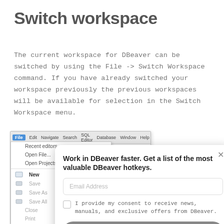Switch workspace
The current workspace for DBeaver can be switched by using the File -> Switch Workspace command. If you have already switched your workspace previously the previous workspaces will be available for selection in the Switch Workspace menu.
[Figure (screenshot): Screenshot of DBeaver application showing the File menu open with options including Recent editors, Open File... (Ctrl+O), Open Projects fr, New, Save (greyed), Save As (greyed), Save All (greyed), Close, Print, Rename, Refresh, Import, Export, Properties, Exit. Over the screenshot is a popup modal titled 'Work in DBeaver faster. Get a list of the most valuable DBeaver hotkeys.' with an Email Address input field, a consent checkbox saying 'I provide my consent to receive news, manuals, and exclusive offers from DBeaver.' and a GET IT button.]